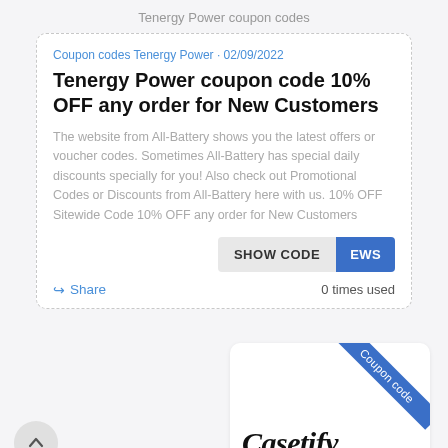Tenergy Power coupon codes
Coupon codes Tenergy Power • 02/09/2022
Tenergy Power coupon code 10% OFF any order for New Customers
The website from All-Battery shows you the latest offers or voucher codes. Sometimes All-Battery has special daily discounts specially for you! Also check out Promotional Codes or Discounts from All-Battery here with us. 10% OFF Sitewide Code 10% OFF any order for New Customers
SHOW CODE EWS
Share  0 times used
[Figure (illustration): Casetify coupon card with blue diagonal ribbon labeled 'Coupon code' and Casetify logo in italic script]